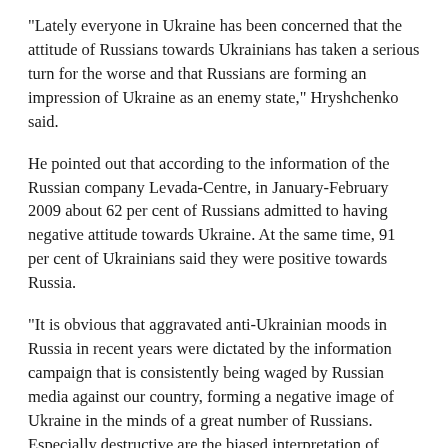"Lately everyone in Ukraine has been concerned that the attitude of Russians towards Ukrainians has taken a serious turn for the worse and that Russians are forming an impression of Ukraine as an enemy state," Hryshchenko said.
He pointed out that according to the information of the Russian company Levada-Centre, in January-February 2009 about 62 per cent of Russians admitted to having negative attitude towards Ukraine. At the same time, 91 per cent of Ukrainians said they were positive towards Russia.
"It is obvious that aggravated anti-Ukrainian moods in Russia in recent years were dictated by the information campaign that is consistently being waged by Russian media against our country, forming a negative image of Ukraine in the minds of a great number of Russians. Especially destructive are the biased interpretation of historical events and the distorted portrayal of Ukrainian society's attempts sincerely and openly to evaluate the past of its nation," Hryshchenko said.